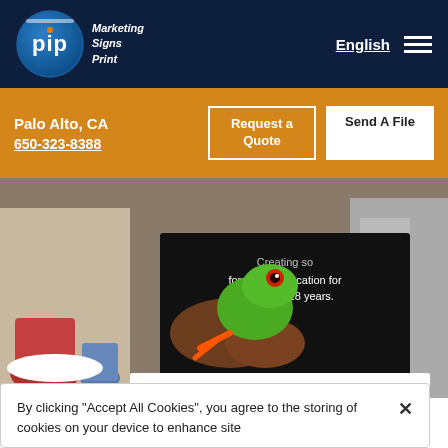[Figure (logo): PIP Marketing Signs Print circular logo on dark navy header bar with English navigation and hamburger menu]
English
Palo Alto, CA
650-323-8388
Request a Quote
Send A File
[Figure (photo): Photo of a display stand with a large black banner showing a green tree frog sitting on a hand with text: 'Creating software solutions for higher education for more than 18 years.' placed on a white table in an office setting.]
By clicking “Accept All Cookies”, you agree to the storing of cookies on your device to enhance site